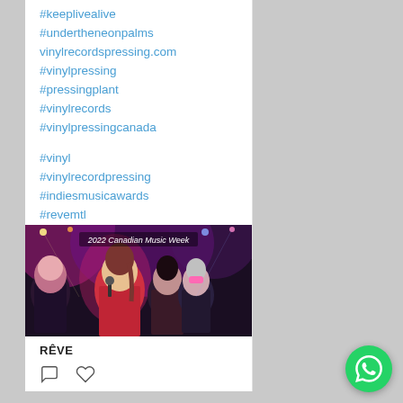#keeplivealive
#undertheneonpalms
vinylrecordspressing.com
#vinylpressing
#pressingplant
#vinylrecords
#vinylpressingcanada

#vinyl
#vinylrecordpressing
#indiesmusicawards
#revemtl
[Figure (photo): Concert performance photo showing female singers on stage at 2022 Canadian Music Week. Text overlay reads '2022 Canadian Music Week'. Multiple performers visible in colorful stage lighting with purple/pink tones. One performer in red holding a microphone.]
RÊVE